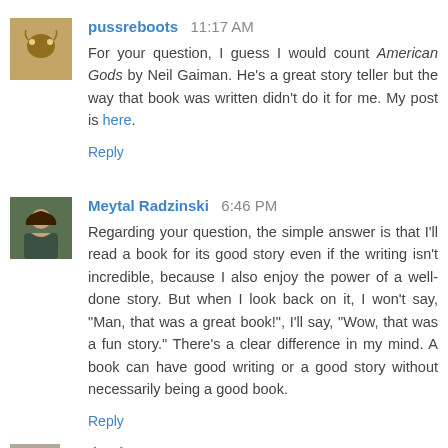pussreboots  11:17 AM
For your question, I guess I would count American Gods by Neil Gaiman. He's a great story teller but the way that book was written didn't do it for me. My post is here.
Reply
Meytal Radzinski  6:46 PM
Regarding your question, the simple answer is that I'll read a book for its good story even if the writing isn't incredible, because I also enjoy the power of a well-done story. But when I look back on it, I won't say, "Man, that was a great book!", I'll say, "Wow, that was a fun story." There's a clear difference in my mind. A book can have good writing or a good story without necessarily being a good book.
Reply
valentina  8:12 PM